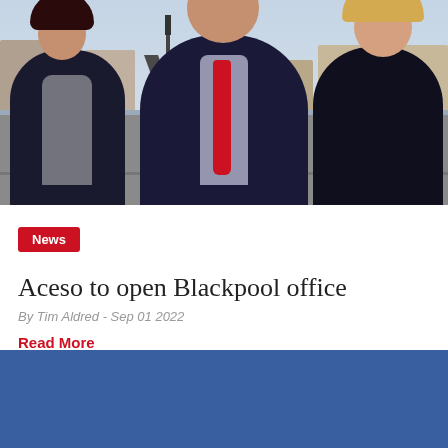[Figure (photo): Three people standing outdoors in front of Blackpool Promenade and Blackpool Tower. Left: woman in dark blazer with patterned top and dark hair. Center: man in dark suit with red tie. Right: woman in dark blazer with blonde hair. Background shows the seafront and tower.]
News
Aceso to open Blackpool office
By Tim Aldred - Sep 01 2022
Read More
[Figure (illustration): Blue rectangle block at the bottom of the page]